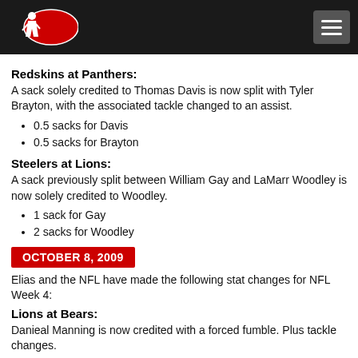Redskins at Panthers:
A sack solely credited to Thomas Davis is now split with Tyler Brayton, with the associated tackle changed to an assist.
0.5 sacks for Davis
0.5 sacks for Brayton
Steelers at Lions:
A sack previously split between William Gay and LaMarr Woodley is now solely credited to Woodley.
1 sack for Gay
2 sacks for Woodley
OCTOBER 8, 2009
Elias and the NFL have made the following stat changes for NFL Week 4:
Lions at Bears:
Danieal Manning is now credited with a forced fumble. Plus tackle changes.
1 fumble forced for Manning